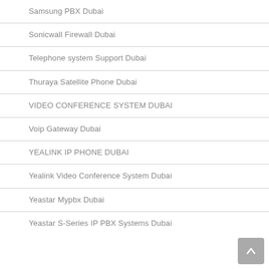Samsung PBX Dubai
Sonicwall Firewall Dubai
Telephone system Support Dubai
Thuraya Satellite Phone Dubai
VIDEO CONFERENCE SYSTEM DUBAI
Voip Gateway Dubai
YEALINK IP PHONE DUBAI
Yealink Video Conference System Dubai
Yeastar Mypbx Dubai
Yeastar S-Series IP PBX Systems Dubai